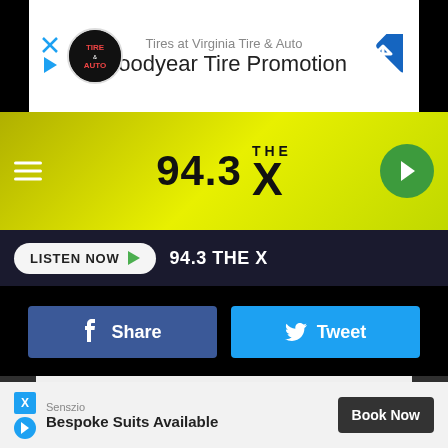[Figure (screenshot): Advertisement banner for Virginia Tire & Auto Goodyear Tire Promotion with logo and arrow icon]
[Figure (logo): 94.3 THE X radio station logo on yellow-green gradient background with hamburger menu and play button]
LISTEN NOW  94.3 THE X
Share
Tweet
DOWNLOAD THE 94.3 THE X MOBILE APP
GET OUR FREE MOBILE APP
Also listen on:  amazon alexa
[Figure (screenshot): Bottom advertisement: Senszio Bespoke Suits Available with Book Now button]